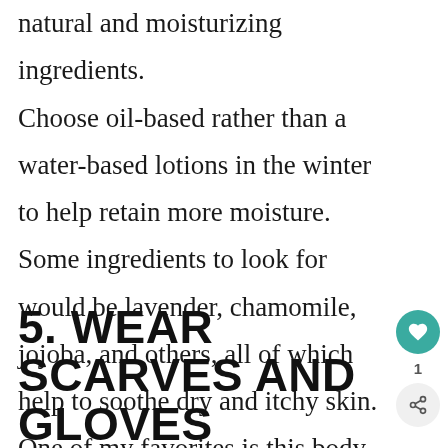natural and moisturizing ingredients. Choose oil-based rather than a water-based lotions in the winter to help retain more moisture. Some ingredients to look for would be lavender, chamomile, jojoba, and others, all of which help to soothe dry and itchy skin. One of my favorites is this body lotion.
5. WEAR SCARVES AND GLOVES